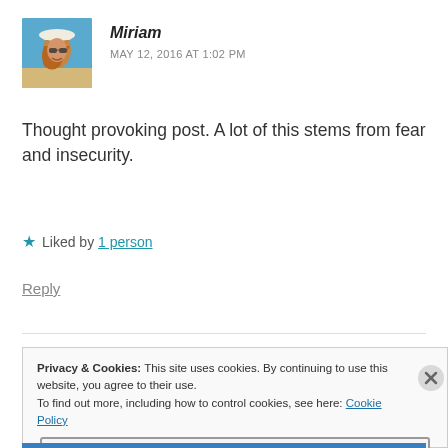[Figure (photo): Avatar photo of Miriam, a woman wearing a white hat at the beach with blue sky background]
Miriam
MAY 12, 2016 AT 1:02 PM
Thought provoking post. A lot of this stems from fear and insecurity.
★ Liked by 1 person
Reply
Privacy & Cookies: This site uses cookies. By continuing to use this website, you agree to their use.
To find out more, including how to control cookies, see here: Cookie Policy
Close and accept